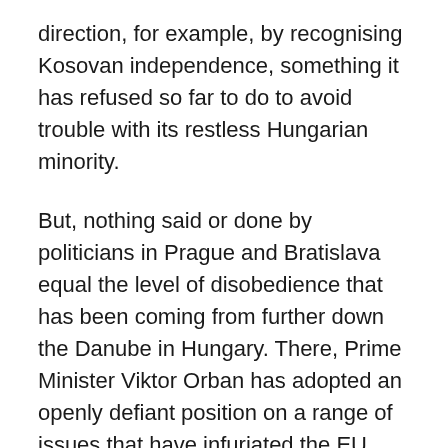direction, for example, by recognising Kosovan independence, something it has refused so far to do to avoid trouble with its restless Hungarian minority.
But, nothing said or done by politicians in Prague and Bratislava equal the level of disobedience that has been coming from further down the Danube in Hungary. There, Prime Minister Viktor Orban has adopted an openly defiant position on a range of issues that have infuriated the EU. But even more dangerously for his long term survival, he has fallen into the cross hairs of Washington. Since summer 2014, demonstrations regularly take place on some pretext or other against the Orban government and long-term regime change watchers can only debate how the situation will finally be resolved. Supporters are confident Orban will survive as he is “popular,” but that never stopped the engine of regime change. Viktor